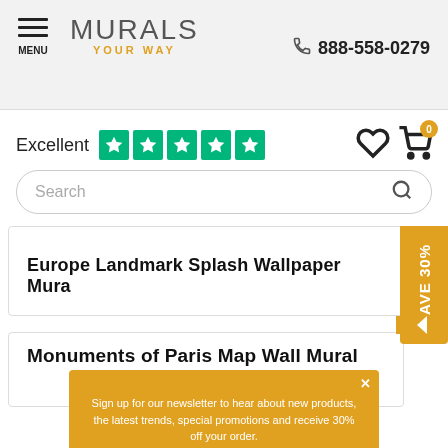MENU | MURALS YOUR WAY | 888-558-0279
Excellent ★★★★★
Search
Europe Landmark Splash Wallpaper Mural
SAVE 30%
Monuments of Paris Map Wall Mural
Sign up for our newsletter to hear about new products, the latest trends, special promotions and receive 30% off your order.
Sign Up
No thanks